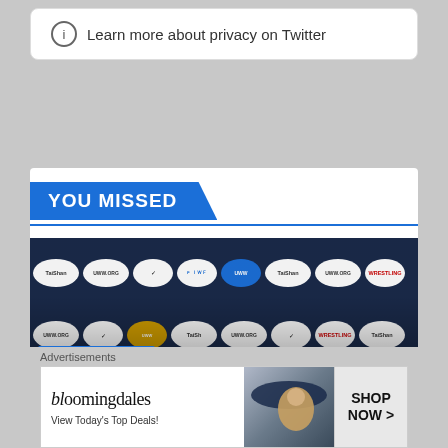Learn more about privacy on Twitter
YOU MISSED
[Figure (photo): Ben Kueter athlete portrait at wrestling championship photo backdrop with UWW.ORG, TaiShan, Nike, and Wrestling sponsor logos on circular badges]
FREESTYLE/GRECO
Ben Kueter after winning World Championship...
Advertisements
[Figure (other): Bloomingdales advertisement banner with woman in hat. Text: bloomingdales, View Today's Top Deals!, SHOP NOW >]